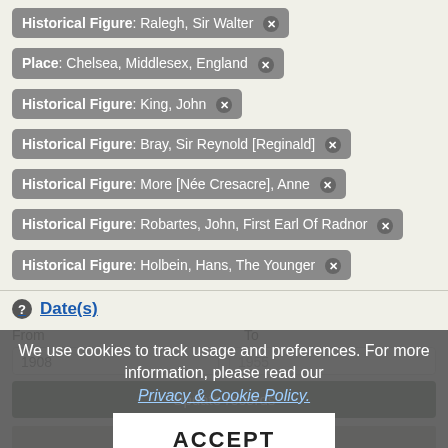Historical Figure: Ralegh, Sir Walter ✕
Place: Chelsea, Middlesex, England ✕
Historical Figure: King, John ✕
Historical Figure: Bray, Sir Reynold [Reginald] ✕
Historical Figure: More [Née Cresacre], Anne ✕
Historical Figure: Robartes, John, First Earl Of Radnor ✕
Historical Figure: Holbein, Hans, The Younger ✕
Date(s)
From  To
1908  1955
Update records
We use cookies to track usage and preferences. For more information, please read our Privacy & Cookie Policy.
ACCEPT